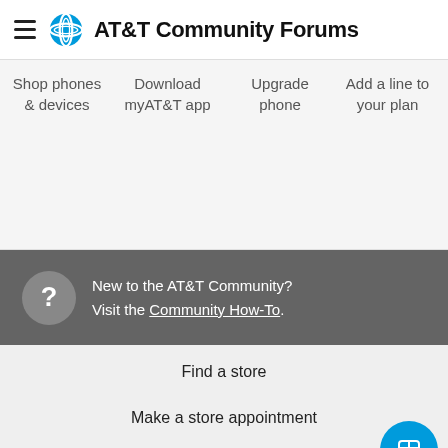AT&T Community Forums
Shop phones & devices
Download myAT&T app
Upgrade phone
Add a line to your plan
New to the AT&T Community? Visit the Community How-To.
Find a store
Make a store appointment
Coverage maps